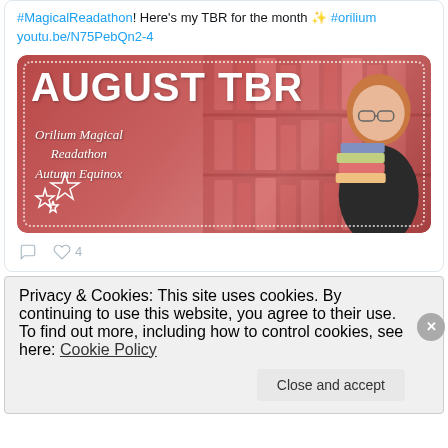#MagicalReadathon! Here's my TBR for the month ✨ #orilium youtu.be/N75PebQn2-4
[Figure (photo): YouTube thumbnail showing AUGUST TBR with subtitle Orilium Magical Readathon Autumn Equinox, woman with red hair holding stack of books in front of pink/red bookshelf, decorative star outlines in bottom left, dotted border]
♡ 4
Privacy & Cookies: This site uses cookies. By continuing to use this website, you agree to their use.
To find out more, including how to control cookies, see here: Cookie Policy
Close and accept